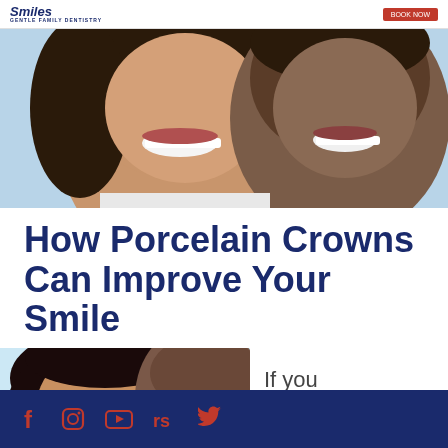Smiles Gentle Family Dentistry
[Figure (photo): Two people smiling closely together, close-up portrait photo used as hero banner]
How Porcelain Crowns Can Improve Your Smile
Porcelain Crowns
[Figure (photo): Woman and man smiling together, light blue background]
If you have
Social media icons: Facebook, Instagram, YouTube, Realself, Twitter